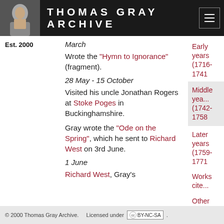THOMAS GRAY ARCHIVE
Est. 2000
March
Wrote the "Hymn to Ignorance" (fragment).
28 May - 15 October
Visited his uncle Jonathan Rogers at Stoke Poges in Buckinghamshire.
Gray wrote the "Ode on the Spring", which he sent to Richard West on 3rd June.
1 June
Richard West, Gray's
Early years (1716-1741
Middle years (1742-1758
Later years (1759-1771
Works cited
Other Chronologi
© 2000 Thomas Gray Archive.    Licensed under (cc) BY-NC-SA.